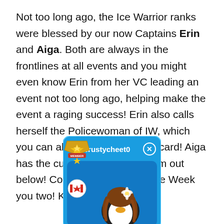Not too long ago, the Ice Warrior ranks were blessed by our now Captains Erin and Aiga. Both are always in the frontlines at all events and you might even know Erin from her VC leading an event not too long ago, helping make the event a raging success! Erin also calls herself the Policewoman of IW, which you can also see on her playercard! Aiga has the cutest dogs, check them out below! Congrats on Troop of the Week you two! Keep it up!
[Figure (screenshot): Club Penguin player card for user 'crustycheet0' showing a penguin character with brown wavy hair and a flower, a gold member badge, and a Canadian flag icon, on a blue background.]